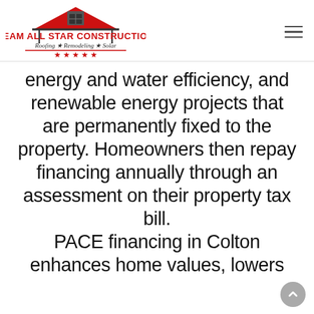[Figure (logo): Team All Star Construction logo with house roof graphic in red and black, tagline 'Roofing ★ Remodeling ★ Solar' and five red stars]
energy and water efficiency, and renewable energy projects that are permanently fixed to the property. Homeowners then repay financing annually through an assessment on their property tax bill. PACE financing in Colton enhances home values, lowers